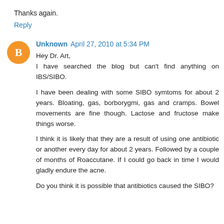Thanks again.
Reply
Unknown  April 27, 2010 at 5:34 PM
Hey Dr. Art,
I have searched the blog but can't find anything on IBS/SIBO.

I have been dealing with some SIBO symtoms for about 2 years. Bloating, gas, borborygmi, gas and cramps. Bowel movements are fine though. Lactose and fructose make things worse.

I think it is likely that they are a result of using one antibiotic or another every day for about 2 years. Followed by a couple of months of Roaccutane. If I could go back in time I would gladly endure the acne.

Do you think it is possible that antibiotics caused the SIBO?